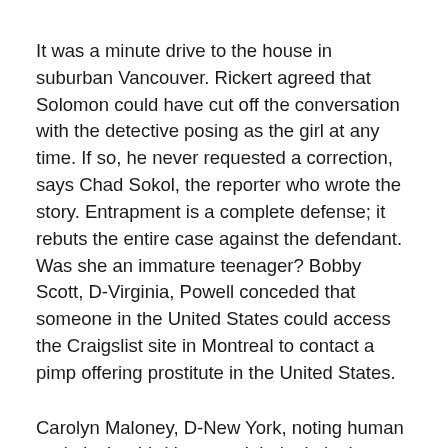It was a minute drive to the house in suburban Vancouver. Rickert agreed that Solomon could have cut off the conversation with the detective posing as the girl at any time. If so, he never requested a correction, says Chad Sokol, the reporter who wrote the story. Entrapment is a complete defense; it rebuts the entire case against the defendant. Was she an immature teenager? Bobby Scott, D-Virginia, Powell conceded that someone in the United States could access the Craigslist site in Montreal to contact a pimp offering prostitute in the United States.
Carolyn Maloney, D-New York, noting human trade is the third largest global criminal enterprise, behind drug and gun trafficking. Within weeks, Kathleen Hambrick, now 55, rented her house and purchased an R. She is fiercely protective of her son and rarely missed a visiting day. Promoting Travel for Prostitution: 9A.